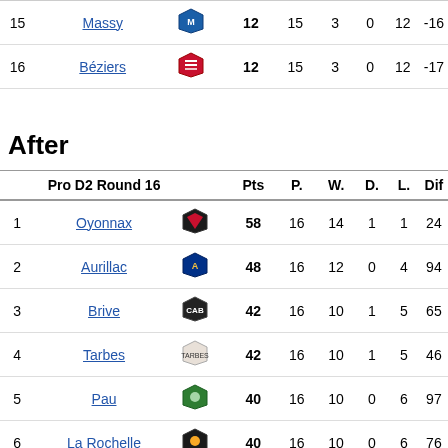|  | Pro D2 Round 15 (top) |  |  | Pts | P. | W. | D. | L. | Dif |
| --- | --- | --- | --- | --- | --- | --- | --- | --- | --- |
| 15 | Massy |  |  | 12 | 15 | 3 | 0 | 12 | -16 |
| 16 | Béziers |  |  | 12 | 15 | 3 | 0 | 12 | -17 |
After
|  | Pro D2 Round 16 |  |  | Pts | P. | W. | D. | L. | Dif |
| --- | --- | --- | --- | --- | --- | --- | --- | --- | --- |
| 1 | Oyonnax |  |  | 58 | 16 | 14 | 1 | 1 | 24 |
| 2 | Aurillac |  |  | 48 | 16 | 12 | 0 | 4 | 94 |
| 3 | Brive |  |  | 42 | 16 | 10 | 1 | 5 | 65 |
| 4 | Tarbes |  |  | 42 | 16 | 10 | 1 | 5 | 46 |
| 5 | Pau |  |  | 40 | 16 | 10 | 0 | 6 | 97 |
| 6 | La Rochelle |  |  | 40 | 16 | 10 | 0 | 6 | 76 |
| 7 | Carcassonne |  |  | 36 | 16 | 9 | 0 | 7 | 67 |
| 8 | Lyon |  |  | 34 | 16 | 8 | 1 | 7 | 11 |
| 9 | Albi |  |  | 32 | 16 | 8 | 0 | 8 | -17 |
| 10 | Colomiers |  |  | 28 | 16 | 7 | 0 | 9 | -57 |
| 11 | Narbonne |  |  | 26 | 16 | 6 | 1 | 9 | -46 |